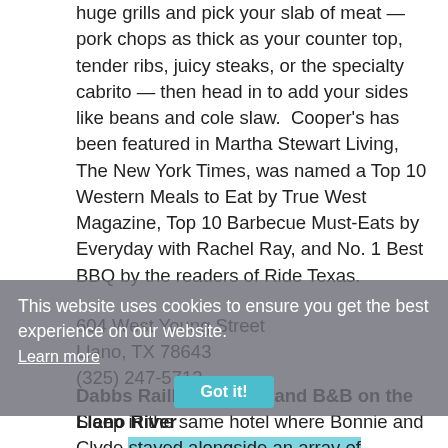huge grills and pick your slab of meat — pork chops as thick as your counter top, tender ribs, juicy steaks, or the specialty cabrito — then head in to add your sides like beans and cole slaw.  Cooper's has been featured in Martha Stewart Living, The New York Times, was named a Top 10 Western Meals to Eat by True West Magazine, Top 10 Barbecue Must-Eats by Everyday with Rachel Ray, and No. 1 Best BBQ by the readers of Ride Texas.
604 West Young Street
Llano, TX 78643
(325) 247-5713
This website uses cookies to ensure you get the best experience on our website.
Dabbs RailRoad Hotel and B&B on the Llano River
Sleep in the same hotel where Bonnie and Clyde stayed alongside an array of characters like miners, gold and silver prospectors, bank and train robbers, lawmen, and outlaws. The Dabbs RailRoad Hotel and B&B was built in 1907 as a stop along the railroad